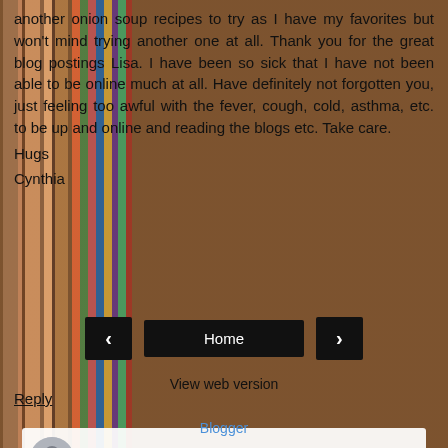another onion soup recipes to try as I have my favorites but won't mind trying another one at all. Thank you for the great blog postings Lisa. I have been so sick that I have not been able to be online much at all. Have definitely not forgotten you, just feeling too awful with the fever, cough, cold, asthma, etc. to be up and online and reading the blogs etc. Take care.
Hugs
Cynthia
Reply
[Figure (screenshot): Comment input box with avatar icon and 'Enter Comment' placeholder text]
[Figure (screenshot): Navigation bar with previous arrow button, Home button, and next arrow button]
View web version
Blogger